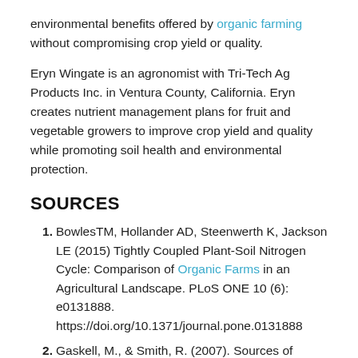environmental benefits offered by organic farming without compromising crop yield or quality.
Eryn Wingate is an agronomist with Tri-Tech Ag Products Inc. in Ventura County, California. Eryn creates nutrient management plans for fruit and vegetable growers to improve crop yield and quality while promoting soil health and environmental protection.
SOURCES
BowlesTM, Hollander AD, Steenwerth K, Jackson LE (2015) Tightly Coupled Plant-Soil Nitrogen Cycle: Comparison of Organic Farms in an Agricultural Landscape. PLoS ONE 10 (6): e0131888. https://doi.org/10.1371/journal.pone.0131888
Gaskell, M., & Smith, R. (2007). Sources of nitrogen for organic vegetable crops. HortTechnology hortte, 17 (4),